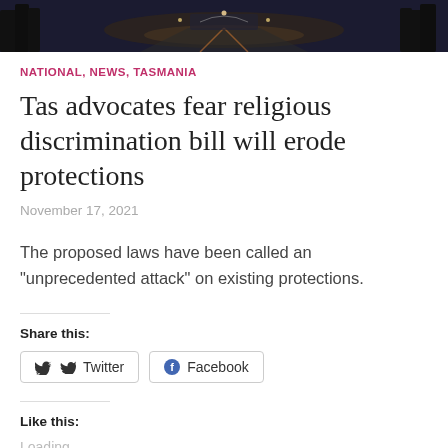[Figure (photo): Dark nighttime photo of a government building or avenue with lights]
NATIONAL, NEWS, TASMANIA
Tas advocates fear religious discrimination bill will erode protections
November 17, 2021
The proposed laws have been called an "unprecedented attack" on existing protections.
Share this:
Twitter
Facebook
Like this:
Loading...